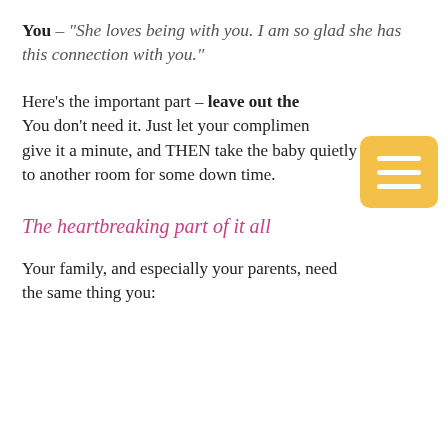You – "She loves being with you. I am so glad she has this connection with you."
Here's the important part – leave out the [something]. You don't need it. Just let your compliment [stand], give it a minute, and THEN take the baby quietly to another room for some down time.
The heartbreaking part of it all
Your family, and especially your parents, need the same thing you: